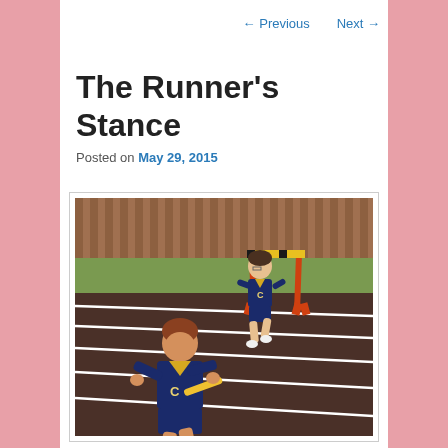← Previous   Next →
The Runner's Stance
Posted on May 29, 2015
[Figure (photo): Two young runners in navy and gold uniforms running on a track, with a hurdle in the background. The front runner appears to be carrying a relay baton.]